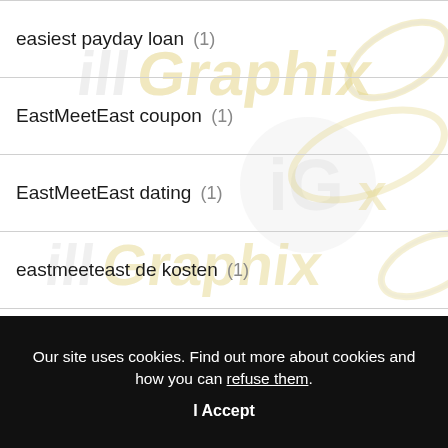easiest payday loan (1)
EastMeetEast coupon (1)
EastMeetEast dating (1)
eastmeeteast de kosten (1)
easy installment loans online (1)
easy online payday loans (1)
Our site uses cookies. Find out more about cookies and how you can refuse them.
I Accept